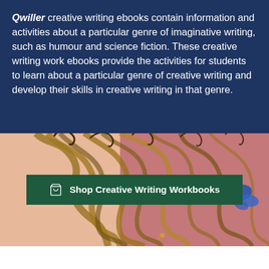Qwiller creative writing ebooks contain information and activities about a particular genre of imaginative writing, such as humour and science fiction. These creative writing work ebooks provide the activities for students to learn about a particular genre of creative writing and develop their skills in creative writing in that genre.
[Figure (illustration): An artistic painting-style illustration with a pinkish background showing flowing hair or organic shapes in golden-brown tones with a blue butterfly or bird element on the right side.]
Shop Creative Writing Workbooks